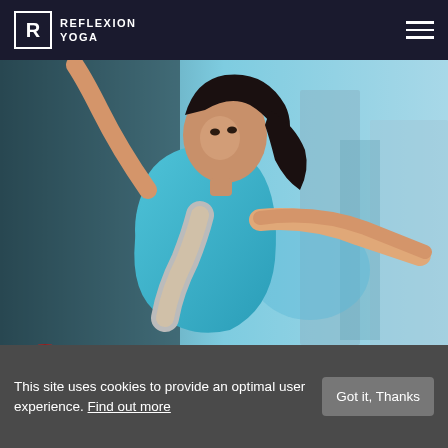REFLEXION YOGA
[Figure (photo): Woman in blue athletic top performing a yoga balance pose outdoors, leaning forward with one leg raised and arms extended]
Chelsea S.
This site uses cookies to provide an optimal user experience. Find out more
Got it, Thanks